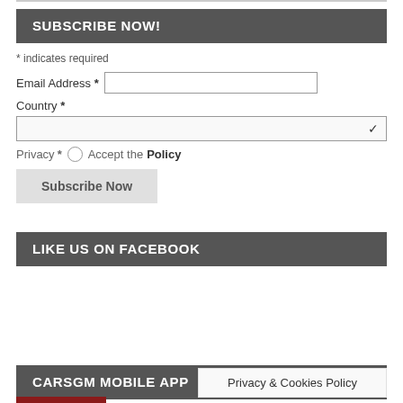SUBSCRIBE NOW!
* indicates required
Email Address *
Country *
Privacy * ◯ Accept the Policy
Subscribe Now
LIKE US ON FACEBOOK
CARSGM MOBILE APP
CARS GLO
Privacy & Cookies Policy